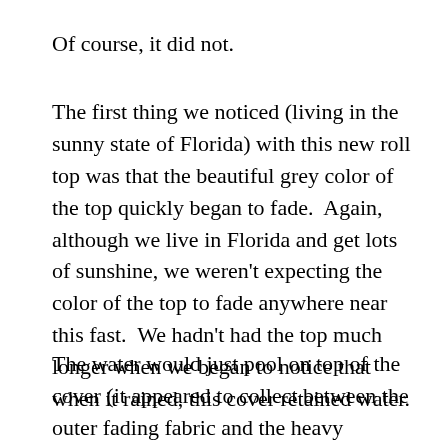Of course, it did not.
The first thing we noticed (living in the sunny state of Florida) with this new roll top was that the beautiful grey color of the top quickly began to fade.  Again, although we live in Florida and get lots of sunshine, we weren't expecting the color of the top to fade anywhere near this fast.  We hadn't had the top much longer when we began to notice that when it rained, this cover retained water.
The water would just pool on top of the cover (it appeared to collect between the outer fading fabric and the heavy synthetic underside) and would sit there for days or until we lifted the